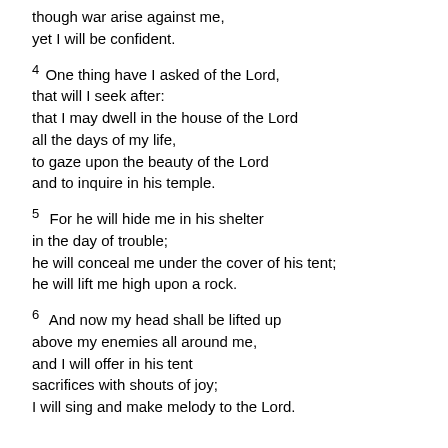though war arise against me,
yet I will be confident.
4  One thing have I asked of the Lord,
that will I seek after:
that I may dwell in the house of the Lord
all the days of my life,
to gaze upon the beauty of the Lord
and to inquire in his temple.
5  For he will hide me in his shelter
in the day of trouble;
he will conceal me under the cover of his tent;
he will lift me high upon a rock.
6  And now my head shall be lifted up
above my enemies all around me,
and I will offer in his tent
sacrifices with shouts of joy;
I will sing and make melody to the Lord.